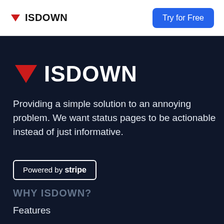ISDOWN — Try for Free
[Figure (logo): ISDOWN logo with red downward triangle and text ISDOWN in hero section]
Providing a simple solution to an annoying problem. We want status pages to be actionable instead of just informative.
Powered by stripe
WHY ISDOWN?
Features